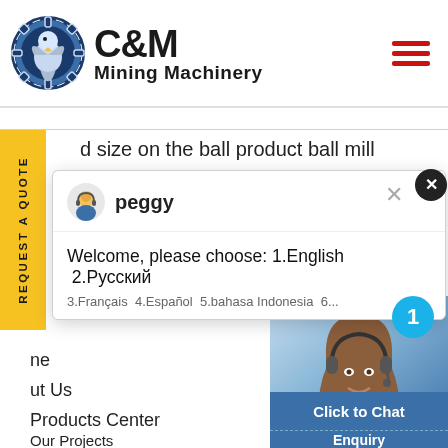[Figure (logo): C&M Mining Machinery logo with eagle/gear circular emblem in navy blue, text reads C&M Mining Machinery]
[Figure (illustration): Hamburger menu icon with 3 red horizontal lines]
d size on the ball product ball mill
[Figure (screenshot): Live chat popup with agent Peggy. Shows welcome message: Welcome, please choose: 1.English 2.Русский 3.Français 4.Español 5.bahasa Indonesia 6...]
REQUEST A QUOTE (vertical side tab)
ne
ut Us
Products Center
Our Projects
[Figure (photo): Customer service agent woman with headset smiling, blue background, with notification badge showing number 1]
Click to Chat
Enquiry